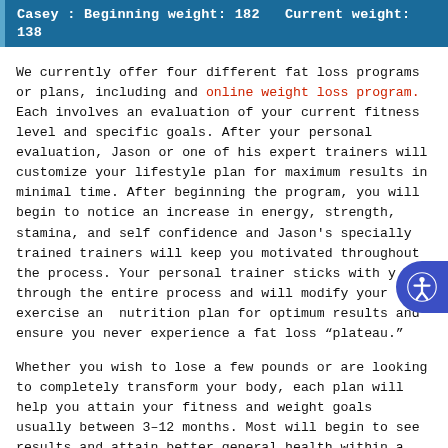Casey : Beginning weight: 182   Current weight: 138
We currently offer four different fat loss programs or plans, including and online weight loss program. Each involves an evaluation of your current fitness level and specific goals. After your personal evaluation, Jason or one of his expert trainers will customize your lifestyle plan for maximum results in minimal time. After beginning the program, you will begin to notice an increase in energy, strength, stamina, and self confidence and Jason’s specially trained trainers will keep you motivated throughout the process. Your personal trainer sticks with you through the entire process and will modify your exercise and nutrition plan for optimum results and ensure you never experience a fat loss “plateau.”
Whether you wish to lose a few pounds or are looking to completely transform your body, each plan will help you attain your fitness and weight goals usually between 3–12 months. Most will begin to see results and attain better general health within a few weeks.
Total wellness has always been the ultimate goal of The High Performance Method program.  Jason has incorporated options